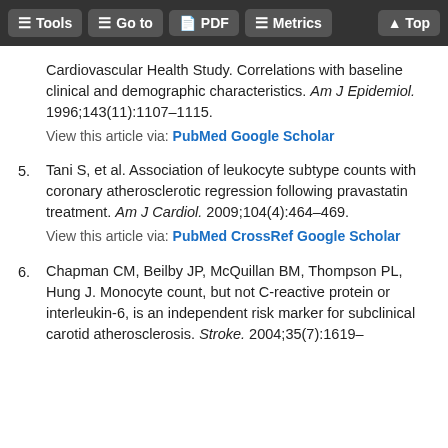Tools | Go to | PDF | Metrics | Top
Cardiovascular Health Study. Correlations with baseline clinical and demographic characteristics. Am J Epidemiol. 1996;143(11):1107–1115.
View this article via: PubMed Google Scholar
5. Tani S, et al. Association of leukocyte subtype counts with coronary atherosclerotic regression following pravastatin treatment. Am J Cardiol. 2009;104(4):464–469.
View this article via: PubMed CrossRef Google Scholar
6. Chapman CM, Beilby JP, McQuillan BM, Thompson PL, Hung J. Monocyte count, but not C-reactive protein or interleukin-6, is an independent risk marker for subclinical carotid atherosclerosis. Stroke. 2004;35(7):1619–